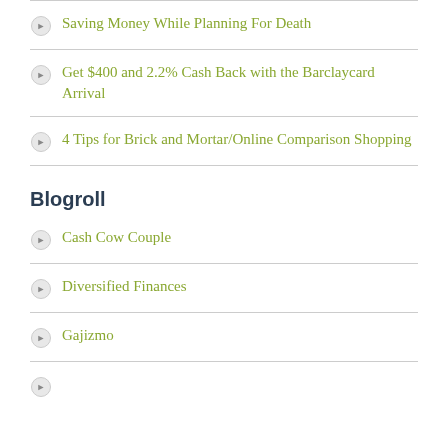Saving Money While Planning For Death
Get $400 and 2.2% Cash Back with the Barclaycard Arrival
4 Tips for Brick and Mortar/Online Comparison Shopping
Blogroll
Cash Cow Couple
Diversified Finances
Gajizmo